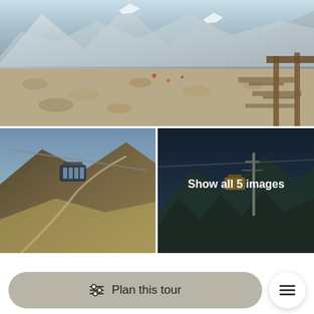[Figure (photo): Mountain station area with rocky terrain, picnic tables, and a wooden structure; snow-capped mountains in background]
[Figure (photo): Aerial cable car gondola over mountain landscape with winding path]
[Figure (photo): Cable car pylon against dark mountain backdrop with overlay text 'Show all 5 images']
From the Diavolezza mountain station, a hiking trail leads past small lakes and a moorland area
Plan this tour